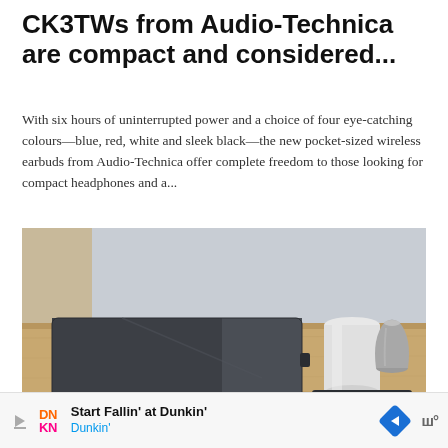CK3TWs from Audio-Technica are compact and considered...
With six hours of uninterrupted power and a choice of four eye-catching colours—blue, red, white and sleek black—the new pocket-sized wireless earbuds from Audio-Technica offer complete freedom to those looking for compact headphones and a...
[Figure (photo): A dark grey fabric laptop sleeve/case lying on a wooden desk surface, alongside two ceramic vessels (a white cylindrical cup and a small grey vase) and a smartphone partially visible at the bottom right. The background shows a light grey wall.]
Start Fallin' at Dunkin' Dunkin'